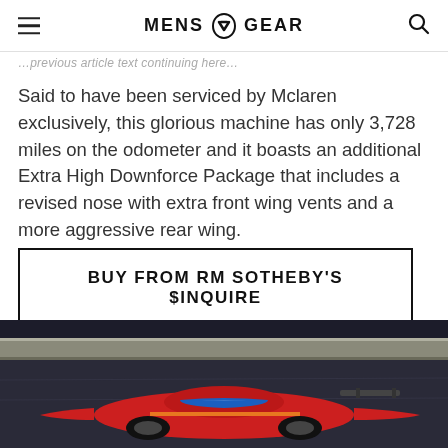MENS GEAR
Said to have been serviced by Mclaren exclusively, this glorious machine has only 3,728 miles on the odometer and it boasts an additional Extra High Downforce Package that includes a revised nose with extra front wing vents and a more aggressive rear wing.
BUY FROM RM SOTHEBY'S $INQUIRE
[Figure (photo): Aerial/overhead view of a red McLaren sports car on a dark surface, with blue and orange accents visible on the car body.]